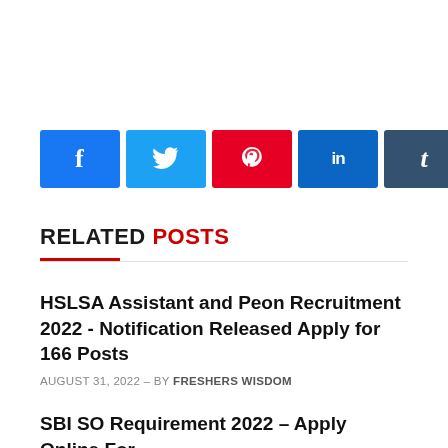[Figure (infographic): Row of 8 social share buttons: Facebook (blue, f), Twitter (light blue, bird), Pinterest (red, pin), LinkedIn (dark blue, in), Tumblr (dark slate, t), WhatsApp (green, phone), Email (black, envelope), Reddit (orange, alien)]
RELATED POSTS
HSLSA Assistant and Peon Recruitment 2022 - Notification Released Apply for 166 Posts
AUGUST 31, 2022 – BY FRESHERS WISDOM
SBI SO Requirement 2022 – Apply Online For